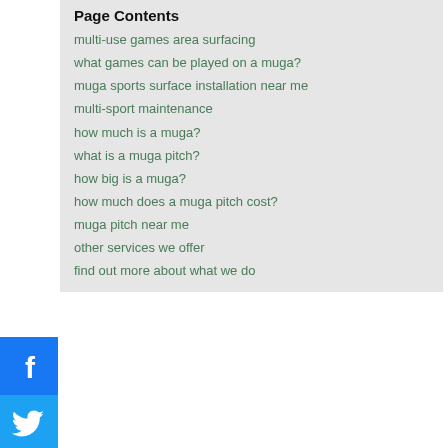Page Contents
multi-use games area surfacing
what games can be played on a muga?
muga sports surface installation near me
multi-sport maintenance
how much is a muga?
what is a muga pitch?
how big is a muga?
how much does a muga pitch cost?
muga pitch near me
other services we offer
find out more about what we do
[Figure (screenshot): Social media share buttons on left side: Facebook (blue), Twitter (blue), Pinterest (red), and a share/add button (dark blue)]
…overing PH36 4
[Figure (screenshot): Error box with exclamation mark icon and text 'Oops! Something went']